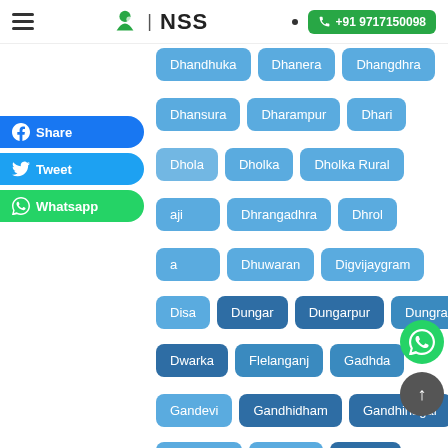NSS | +91 9717150098
Dhandhuka
Dhanera
Dhangdhra
Dhansura
Dharampur
Dhari
Dhola
Dholka
Dholka Rural
...aji
Dhrangadhra
Dhrol
...a
Dhuwaran
Digvijaygram
Disa
Dungar
Dungarpur
Dungra
Dwarka
Flelanganj
Gadhda
Gandevi
Gandhidham
Gandhinagar
Gariadhar
Ghogha
Godhra